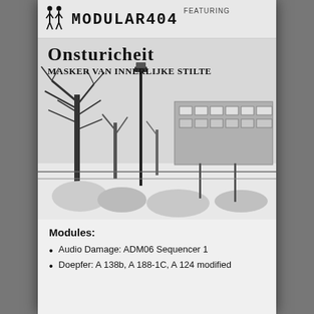MODULAR404 FEATURING
Onsturicheit
Masker van Innerlijke Stilte
[Figure (photo): Black and white photograph of a winter outdoor scene with bare trees, a lamp post, scrubby bushes covered in snow, and a modernist building in the background.]
Modules:
Audio Damage: ADM06 Sequencer 1
Doepfer: A 138b, A 188-1C, A 124 modified